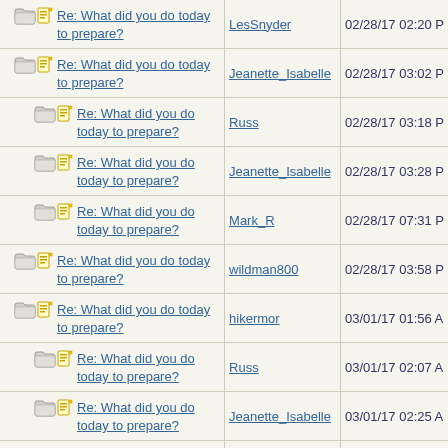| Topic | Author | Date |
| --- | --- | --- |
| Re: What did you do today to prepare? | LesSnyder | 02/28/17 02:20 P |
| Re: What did you do today to prepare? | Jeanette_Isabelle | 02/28/17 03:02 P |
| Re: What did you do today to prepare? | Russ | 02/28/17 03:18 P |
| Re: What did you do today to prepare? | Jeanette_Isabelle | 02/28/17 03:28 P |
| Re: What did you do today to prepare? | Mark_R | 02/28/17 07:31 P |
| Re: What did you do today to prepare? | wildman800 | 02/28/17 03:58 P |
| Re: What did you do today to prepare? | hikermor | 03/01/17 01:56 A |
| Re: What did you do today to prepare? | Russ | 03/01/17 02:07 A |
| Re: What did you do today to prepare? | Jeanette_Isabelle | 03/01/17 02:25 A |
| Re: What did you do today to prepare? | hikermor | 03/01/17 01:10 P |
| Re: What did you do today to prepare? | Jeanette_Isabelle | 03/01/17 01:44 P |